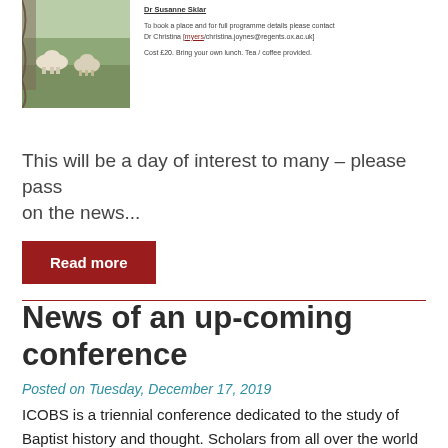[Figure (illustration): Small rectangular thumbnail image showing animals (possibly sheep/cattle) in a pastoral landscape with muted earthy tones]
Dr Susanne Sklar

To book a place and for full programme details please contact Dr Christina [myers/christina.joynes@regents.ox.ac.uk]

Cost £20. Bring your own lunch. Tea / coffee provided.
This will be a day of interest to many – please pass on the news...
Read more
News of an up-coming conference
Posted on Tuesday, December 17, 2019
ICOBS is a triennial conference dedicated to the study of Baptist history and thought. Scholars from all over the world have been participating in ICOBS since our first conference at Oxford University in 1997. Our next ICOBS